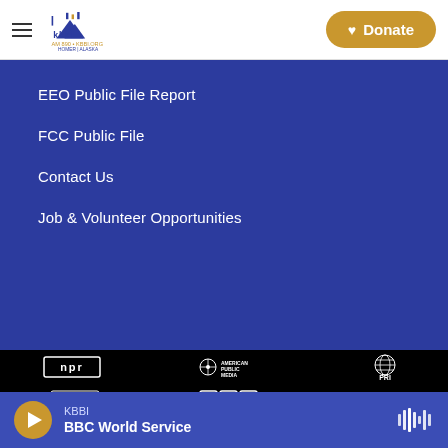KBBI AM 890 • KBBI.ORG Homer | Alaska — navigation header with Donate button
EEO Public File Report
FCC Public File
Contact Us
Job & Volunteer Opportunities
[Figure (logo): Logos of NPR, American Public Media, PRI, CPB, BBC on black background]
KBBI — BBC World Service (player bar with play button and waveform icon)